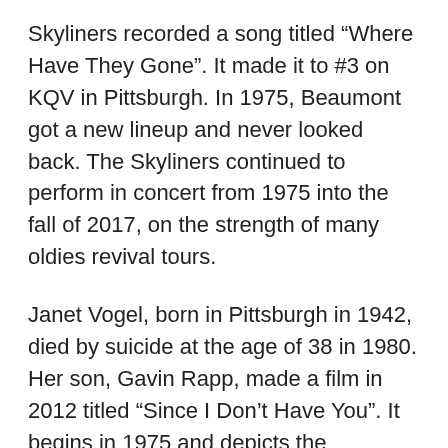Skyliners recorded a song titled “Where Have They Gone”. It made it to #3 on KQV in Pittsburgh. In 1975, Beaumont got a new lineup and never looked back. The Skyliners continued to perform in concert from 1975 into the fall of 2017, on the strength of many oldies revival tours.
Janet Vogel, born in Pittsburgh in 1942, died by suicide at the age of 38 in 1980. Her son, Gavin Rapp, made a film in 2012 titled “Since I Don’t Have You”. It begins in 1975 and depicts the pressures of motherhood, a difficult marriage, Gavin Rapp’s estranged relationship with his father, and the pressures of show business that led his mother, Janet Vogel, to take her own life.
Joe Verscharen went from pop singer to insurance